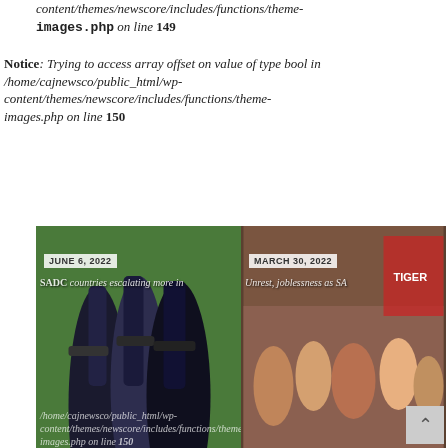content/themes/newscore/includes/functions/theme-images.php on line 149
Notice: Trying to access array offset on value of type bool in /home/cajnewsco/public_html/wp-content/themes/newscore/includes/functions/theme-images.php on line 150
[Figure (photo): Two news article thumbnails side by side. Left: fuel pump nozzles with overlay text 'JUNE 6, 2022' and headline 'SADC countries escalating more in Ukraine war'. Right: crowd protest scene with overlay 'MARCH 30, 2022' and headline 'Unrest, joblessness as SA xenophobic fire rages'.]
Notice: Trying to access array offset on value of type bool in /home/cajnewsco/public_html/wp-content/themes/newscore/includes/functions/theme-images.php on line 149
Notice: Trying to access array offset on value of type bool in /home/cajnewsco/public_html/wp-content/themes/newscore/includes/functions/theme-images.php on line 149
Notice: Trying to access array offset on value of type bool in /home/cajnewsco/public_html/wp-content/themes/newscore/includes/functions/theme-images.php on line 149
Notice: Trying to access array offset on value of type bool in /home/cajnewsco/public_html/wp-content/themes/newscore/includes/functions/theme-images.php on line 149